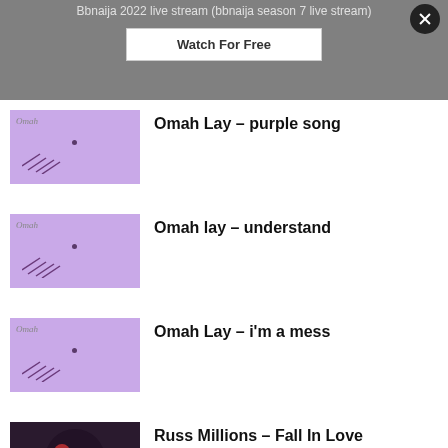Bbnaija 2022 live stream (bbnaija season 7 live stream)
Watch For Free
Omah Lay – purple song
Omah lay – understand
Omah Lay – i'm a mess
Russ Millions – Fall In Love